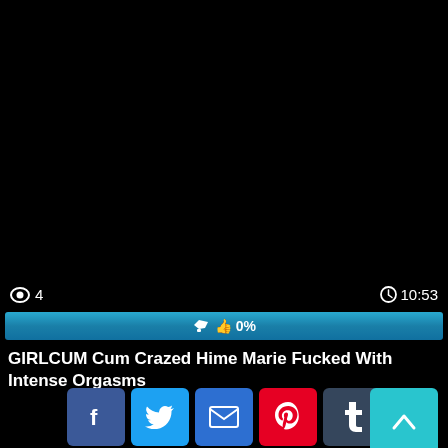[Figure (screenshot): Black video player area]
👁 4    🕐 10:53
[Figure (other): Blue progress bar showing 0% with thumbs-up icon]
GIRLCUM Cum Crazed Hime Marie Fucked With Intense Orgasms
[Figure (other): Social share buttons: Facebook, Twitter, Email, Pinterest, Tumblr, Reddit, Blogger, WordPress, VK, More, and scroll-to-top button]